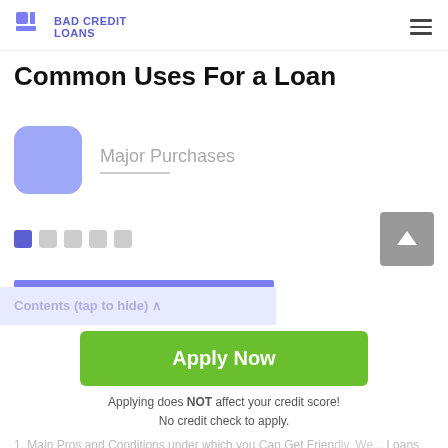BAD CREDIT LOANS
Common Uses For a Loan
Major Purchases
[Figure (infographic): Pagination indicator with 5 dots, first dot active (blue/purple), others grey]
[Figure (infographic): Contents bar showing 'Contents (tap to hide)' with an up arrow and a blue top bar]
[Figure (infographic): Green Apply Now button with text 'Apply Now', subtext: 'Applying does NOT affect your credit score! No credit check to apply.']
1. Main Pros and Conditions under which you Can Get Friendly, We... Loans
Applying does NOT affect your credit score! No credit check to apply.